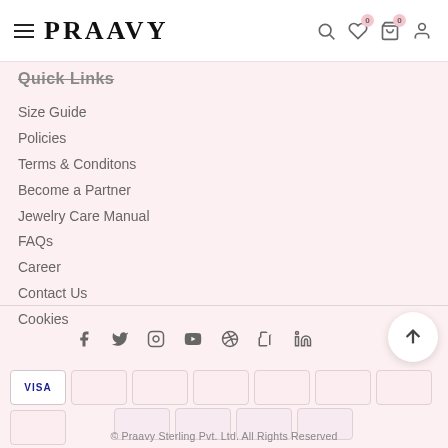PRAAVY
Quick Links
Size Guide
Policies
Terms & Conditons
Become a Partner
Jewelry Care Manual
FAQs
Career
Contact Us
Cookies
[Figure (other): Social media icons row: Facebook, Twitter, Instagram, YouTube, Pinterest, Tumblr, LinkedIn]
[Figure (other): Payment method cards row including VISA and other payment options]
© Praavy Sterling Pvt. Ltd. All Rights Reserved